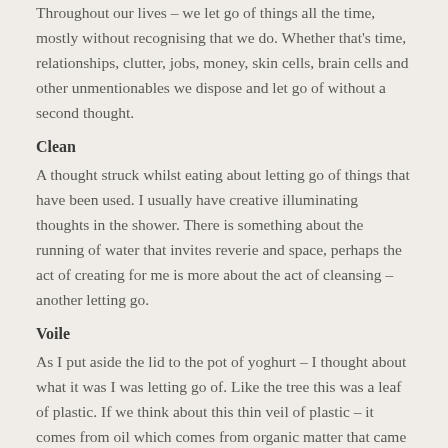Throughout our lives – we let go of things all the time, mostly without recognising that we do. Whether that's time, relationships, clutter, jobs, money, skin cells, brain cells and other unmentionables we dispose and let go of without a second thought.
Clean
A thought struck whilst eating about letting go of things that have been used. I usually have creative illuminating thoughts in the shower. There is something about the running of water that invites reverie and space, perhaps the act of creating for me is more about the act of cleansing – another letting go.
Voile
As I put aside the lid to the pot of yoghurt – I thought about what it was I was letting go of. Like the tree this was a leaf of plastic. If we think about this thin veil of plastic – it comes from oil which comes from organic matter that came from a tree or other vegetation millions of years ago. The plastic leaf did not cascade from my hand to the table with that carefreeness that a leaf from a tree descends to a loamy forest floor. No